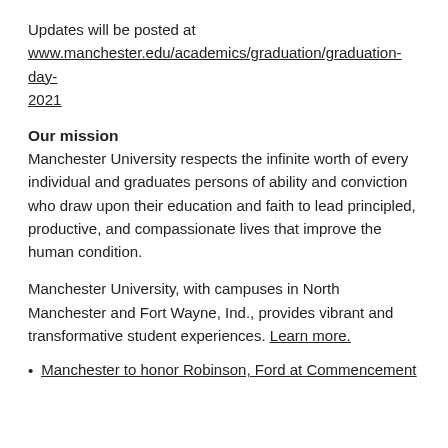Updates will be posted at www.manchester.edu/academics/graduation/graduation-day-2021
Our mission
Manchester University respects the infinite worth of every individual and graduates persons of ability and conviction who draw upon their education and faith to lead principled, productive, and compassionate lives that improve the human condition.
Manchester University, with campuses in North Manchester and Fort Wayne, Ind., provides vibrant and transformative student experiences. Learn more.
Manchester to honor Robinson, Ford at Commencement